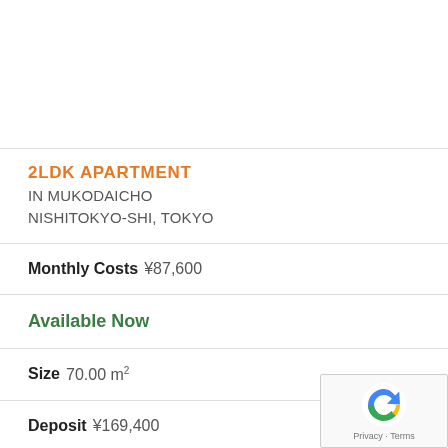2LDK APARTMENT
IN MUKODAICHO
NISHITOKYO-SHI, TOKYO
Monthly Costs ¥87,600
Available Now
Size 70.00 m²
Deposit ¥169,400
Key Money ¥0
Floor 5 / 5F